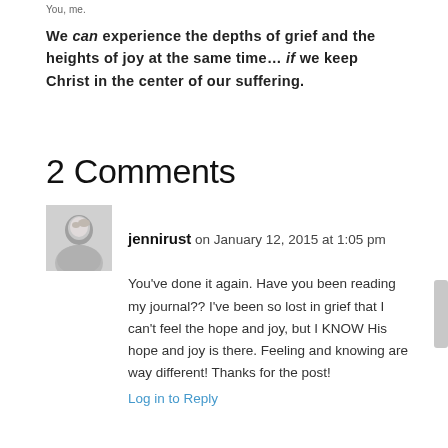You, me.
We can experience the depths of grief and the heights of joy at the same time… if we keep Christ in the center of our suffering.
2 Comments
jennirust on January 12, 2015 at 1:05 pm
You've done it again. Have you been reading my journal?? I've been so lost in grief that I can't feel the hope and joy, but I KNOW His hope and joy is there. Feeling and knowing are way different! Thanks for the post!
Log in to Reply